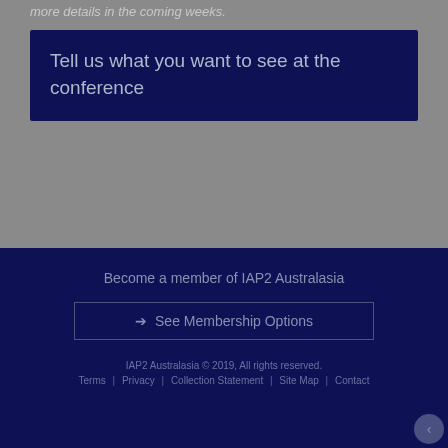more details in the coming weeks.
Tell us what you want to see at the conference
Become a member of IAP2 Australasia
→ See Membership Options
IAP2 Australasia © 2019, All rights reserved.
Terms | Privacy | Collection Statement | Site Map | Contact